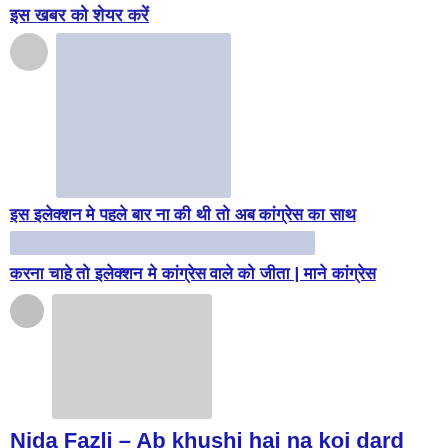इस खबर को शेयर करें
[Figure (photo): Avatar circle and blurred thumbnail image placeholder]
इस इलेक्शन मे पहले बार ना की थी तो अब कांग्रेस का साथ
[Figure (other): Blurred blue-gray content snippet bar]
करना चाहे तो इलेक्शन मे कांग्रेस वाले को जीता | माने कांग्रेस
[Figure (photo): Avatar circle and blurred thumbnail image placeholder]
Nida Fazli – Ab khushi hai na koi dard rulane wala (निदा फ़ाज़ली – अब ख़ुशी है न कोई दर्द रुलाने